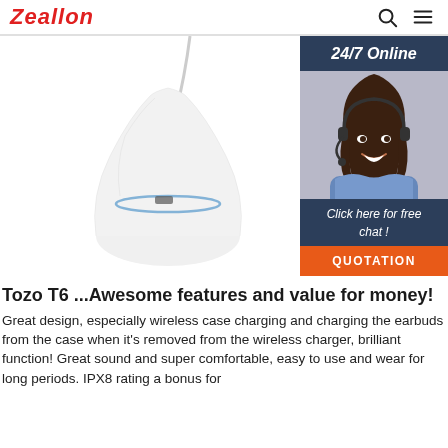Zeallon
[Figure (photo): White wireless earbuds charging case with a cord/cable on white background, with a 24/7 online customer support chat widget on the right showing a woman with a headset, 'Click here for free chat!' text, and an orange 'QUOTATION' button]
Tozo T6 ...Awesome features and value for money!
Great design, especially wireless case charging and charging the earbuds from the case when it's removed from the wireless charger, brilliant function! Great sound and super comfortable, easy to use and wear for long periods. IPX8 rating a bonus for